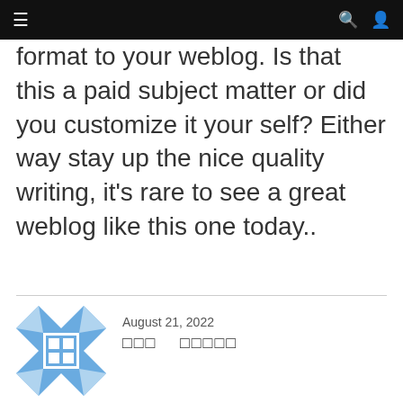≡  🔍 👤
format to your weblog. Is that this a paid subject matter or did you customize it your self? Either way stay up the nice quality writing, it's rare to see a great weblog like this one today..
August 21, 2022  □□□ □□□□□
Heya i am for the primary time here. I came across this board and I in finding It really helpful & it helped me out a lot. I